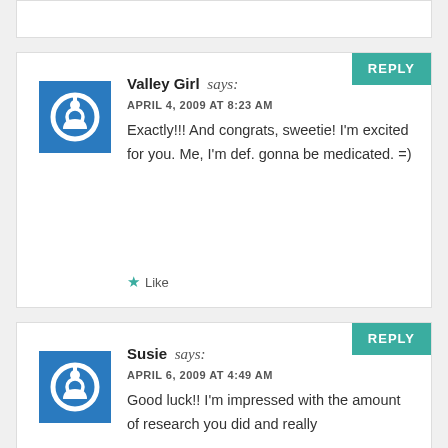Valley Girl says: APRIL 4, 2009 AT 8:23 AM — Exactly!!! And congrats, sweetie! I'm excited for you. Me, I'm def. gonna be medicated. =)
Like
Susie says: APRIL 6, 2009 AT 4:49 AM — Good luck!! I'm impressed with the amount of research you did and really